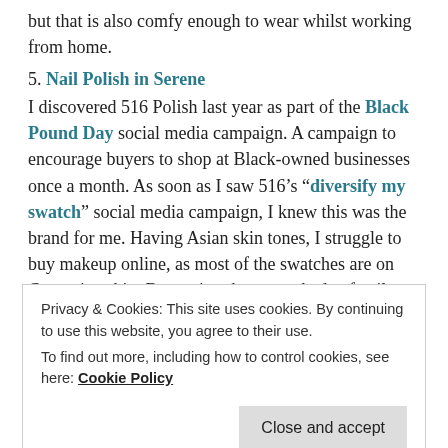but that is also comfy enough to wear whilst working from home.
5. Nail Polish in Serene
I discovered 516 Polish last year as part of the Black Pound Day social media campaign. A campaign to encourage buyers to shop at Black-owned businesses once a month. As soon as I saw 516’s “diversify my swatch” social media campaign, I knew this was the brand for me. Having Asian skin tones, I struggle to buy makeup online, as most of the swatches are on Caucasian skin. But seeing the same shade of nail polish in numerous skin tones at once has been a game-changer.
Privacy & Cookies: This site uses cookies. By continuing to use this website, you agree to their use.
To find out more, including how to control cookies, see here: Cookie Policy
Close and accept
jewellery. Several pieces appealed to me, but I love this Ahsoka necklace, which I think will look great layered